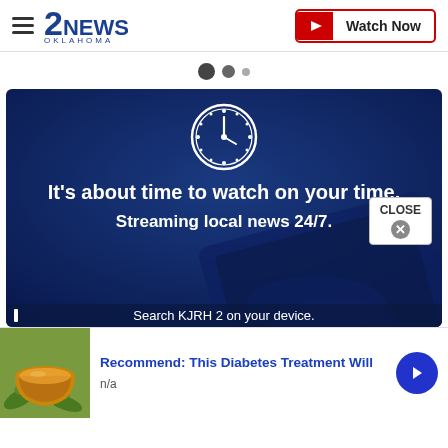2NEWS OKLAHOMA — Watch Now
[Figure (screenshot): Carousel navigation dots: two large dark dots and one smaller grey dot]
[Figure (photo): Dark blue-tinted promotional banner image showing hands holding a tablet. White clock icon at top center. Text reads: It's about time to watch on your time. Streaming local news 24/7. Search KJRH 2 on your device.]
[Figure (infographic): Ad banner at bottom: thumbnail of a bowl on the left, blue text 'Recommend: This Diabetes Treatment Will', subtext 'n/a', blue circular arrow button on right. CLOSE button with X overlay near top-right of ad.]